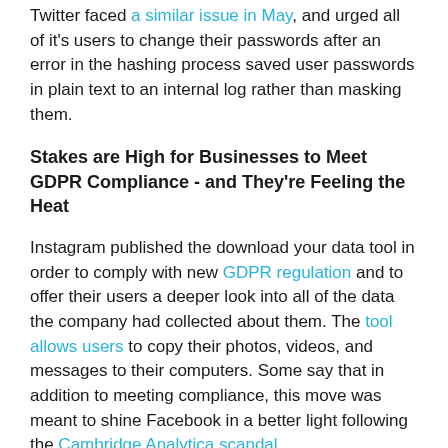Twitter faced a similar issue in May, and urged all of it's users to change their passwords after an error in the hashing process saved user passwords in plain text to an internal log rather than masking them.
Stakes are High for Businesses to Meet GDPR Compliance - and They're Feeling the Heat
Instagram published the download your data tool in order to comply with new GDPR regulation and to offer their users a deeper look into all of the data the company had collected about them. The tool allows users to copy their photos, videos, and messages to their computers. Some say that in addition to meeting compliance, this move was meant to shine Facebook in a better light following the Cambridge Analytica scandal.